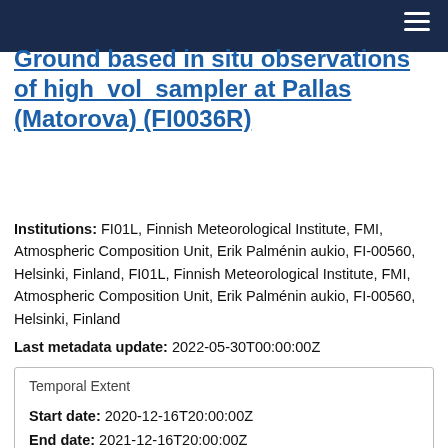Ground based in situ observations of high_vol_sampler at Pallas (Matorova) (FI0036R)
Institutions: FI01L, Finnish Meteorological Institute, FMI, Atmospheric Composition Unit, Erik Palménin aukio, FI-00560, Helsinki, Finland, FI01L, Finnish Meteorological Institute, FMI, Atmospheric Composition Unit, Erik Palménin aukio, FI-00560, Helsinki, Finland
Last metadata update: 2022-05-30T00:00:00Z
Temporal Extent
Start date: 2020-12-16T20:00:00Z
End date: 2021-12-16T20:00:00Z